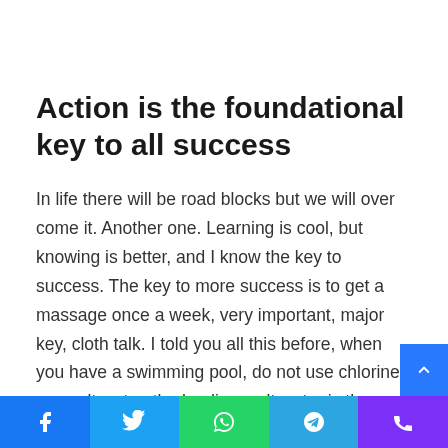Action is the foundational key to all success
In life there will be road blocks but we will over come it. Another one. Learning is cool, but knowing is better, and I know the key to success. The key to more success is to get a massage once a week, very important, major key, cloth talk. I told you all this before, when you have a swimming pool, do not use chlorine, use salt water, the healing, salt water is the healing. I'm up to something. Life is what you make it, so let's make it. The other day the grass was brown, now it's green because I ain't give up. Never surrender.
Social share bar: Facebook, Twitter, WhatsApp, Telegram, Phone